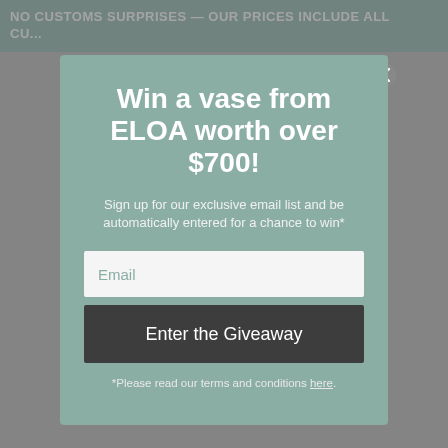NO CUSTOMS SURPRISES — OUR PRICES INCLUDE ALL CU...
Win a vase from ELOA worth over $700!
Sign up for our exclusive email list and be automatically entered for a chance to win*
Email
Enter the Giveaway
*Please read our terms and conditions here